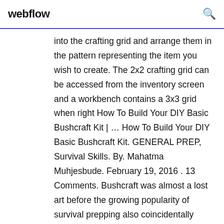webflow
into the crafting grid and arrange them in the pattern representing the item you wish to create. The 2x2 crafting grid can be accessed from the inventory screen and a workbench contains a 3x3 grid when right How To Build Your DIY Basic Bushcraft Kit | … How To Build Your DIY Basic Bushcraft Kit. GENERAL PREP, Survival Skills. By. Mahatma Muhjesbude. February 19, 2016 . 13 Comments. Bushcraft was almost a lost art before the growing popularity of survival prepping also coincidentally stimulated a new interest in it. Preppers began to get ready by stockpiling and planning, but they soon realized that no matter how well prepared you might be, in Galacticraft -